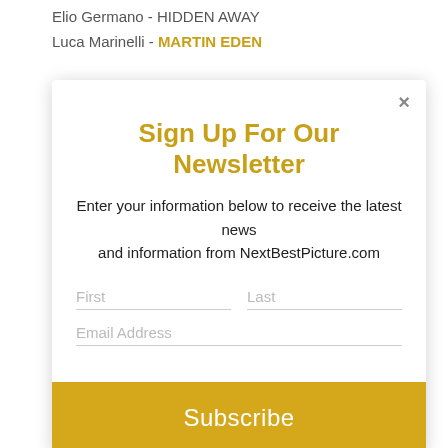Elio Germano - HIDDEN AWAY
Luca Marinelli - MARTIN EDEN
[Figure (screenshot): Newsletter sign-up modal popup with title 'Sign Up For Our Newsletter', description text, First/Last name fields, Email Address field, and a yellow Subscribe button. A close (×) button is in the top right corner.]
European Cinematography
Matteo Cocco for HIDDEN AWAY